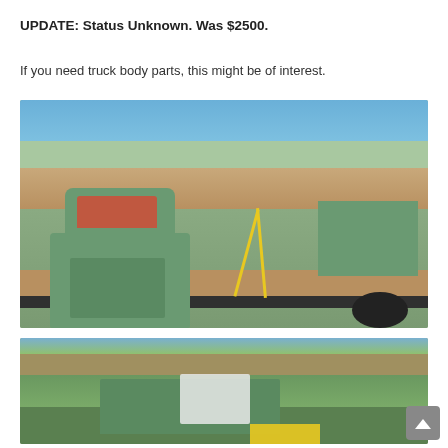UPDATE: Status Unknown. Was $2500.
If you need truck body parts, this might be of interest.
[Figure (photo): Vintage green truck cab and bed strapped to a flatbed trailer outdoors, trees in background]
[Figure (photo): Partial view of green truck parts on trailer with white ladder rack visible, yellow straps, outdoor setting]